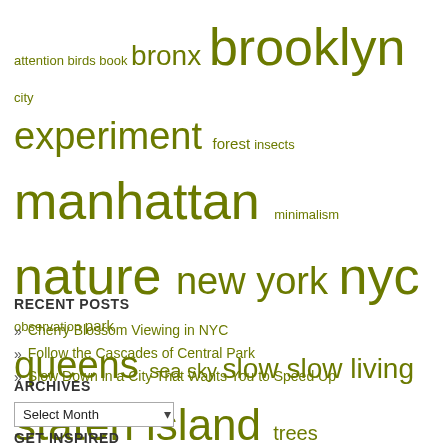attention birds book bronx brooklyn city experiment forest insects manhattan minimalism nature new york nyc observation park queens sea sky slow slow living staten island trees urban nature wildlife
RECENT POSTS
Cherry Blossom Viewing in NYC
Follow the Cascades of Central Park
Slow Down in a City That Wants You to Speed Up
ARCHIVES
Select Month
GET INSPIRED